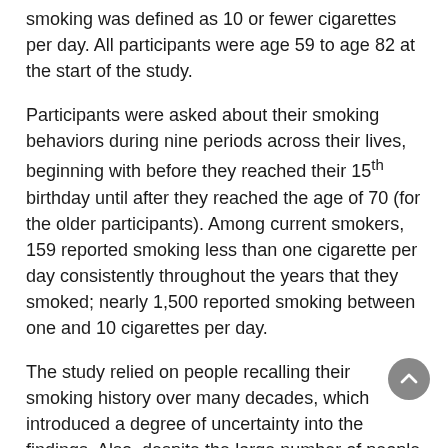smoking was defined as 10 or fewer cigarettes per day. All participants were age 59 to age 82 at the start of the study.
Participants were asked about their smoking behaviors during nine periods across their lives, beginning with before they reached their 15th birthday until after they reached the age of 70 (for the older participants). Among current smokers, 159 reported smoking less than one cigarette per day consistently throughout the years that they smoked; nearly 1,500 reported smoking between one and 10 cigarettes per day.
The study relied on people recalling their smoking history over many decades, which introduced a degree of uncertainty into the findings. Also, despite the large number of people surveyed, the number of consistent low-intensity smokers was relatively small.